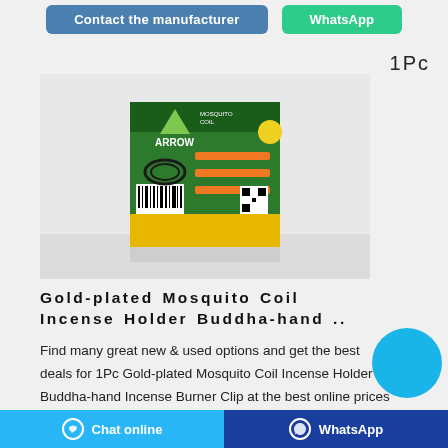[Figure (screenshot): Two buttons: 'Contact the manufacturer' (blue) and 'WhatsApp' (green teal)]
1Pc
[Figure (photo): Product photo of Arrow Mosquito Coil box, green packaging with barcode, on white background with reflection]
Gold-plated Mosquito Coil Incense Holder Buddha-hand ..
Find many great new & used options and get the best deals for 1Pc Gold-plated Mosquito Coil Incense Holder Buddha-hand Incense Burner Clip at the best online prices
[Figure (other): Cyan/blue filled circle overlay]
Chat online   WhatsApp